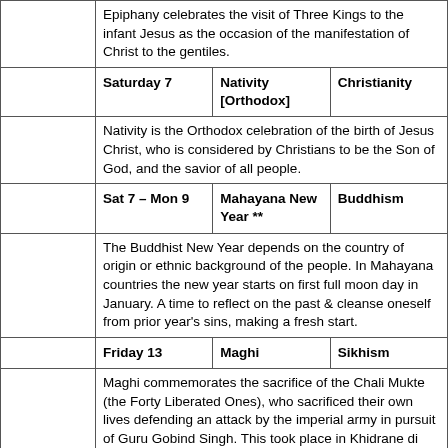| Month | Date | Holiday | Religion |
| --- | --- | --- | --- |
|  | Epiphany celebrates the visit of Three Kings to the infant Jesus as the occasion of the manifestation of Christ to the gentiles. |  |  |
|  | Saturday 7 | Nativity [Orthodox] | Christianity |
|  | Nativity is the Orthodox celebration of the birth of Jesus Christ, who is considered by Christians to be the Son of God, and the savior of all people. |  |  |
|  | Sat 7 – Mon 9 | Mahayana New Year ** | Buddhism |
|  | The Buddhist New Year depends on the country of origin or ethnic background of the people. In Mahayana countries the new year starts on first full moon day in January. A time to reflect on the past & cleanse oneself from prior year's sins, making a fresh start. |  |  |
|  | Friday 13 | Maghi | Sikhism |
|  | Maghi commemorates the sacrifice of the Chali Mukte (the Forty Liberated Ones), who sacrificed their own lives defending an attack by the imperial army in pursuit of Guru Gobind Singh. This took place in Khidrane di Dhab, on 29 |  |  |